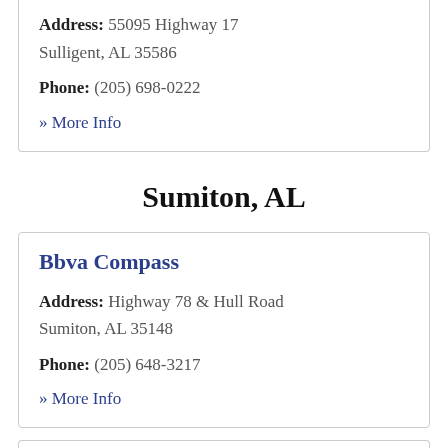Address: 55095 Highway 17 Sulligent, AL 35586
Phone: (205) 698-0222
» More Info
Sumiton, AL
Bbva Compass
Address: Highway 78 & Hull Road Sumiton, AL 35148
Phone: (205) 648-3217
» More Info